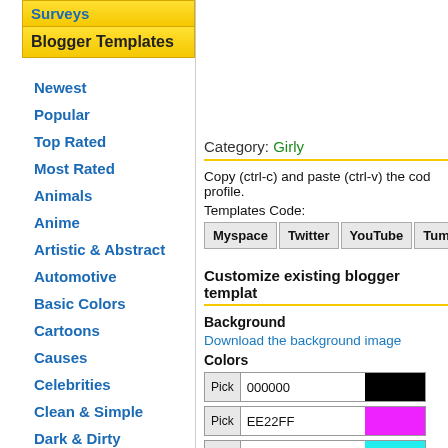Surveys
Blogger Templates
Newest
Popular
Top Rated
Most Rated
Animals
Anime
Artistic & Abstract
Automotive
Basic Colors
Cartoons
Causes
Celebrities
Clean & Simple
Dark & Dirty
Emo & Goth
Fantasy
Flowers
Category: Girly
Copy (ctrl-c) and paste (ctrl-v) the code into your profile.
Templates Code:
Myspace  Twitter  YouTube  Tum
Customize existing blogger template
Background
Download the background image
Colors
Pick 000000
Pick EE22FF
Pick 22EEEE
Add in a "Gadget" called "Visitors"
<a href="https://m.maploco.com/
Complete Code